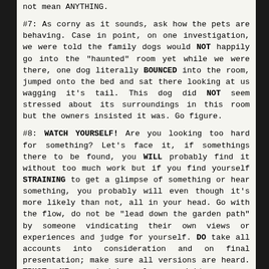not mean ANYTHING.
#7: As corny as it sounds, ask how the pets are behaving. Case in point, on one investigation, we were told the family dogs would NOT happily go into the "haunted" room yet while we were there, one dog literally BOUNCED into the room, jumped onto the bed and sat there looking at us wagging it's tail. This dog did NOT seem stressed about its surroundings in this room but the owners insisted it was. Go figure.
#8: WATCH YOURSELF! Are you looking too hard for something? Let's face it, if somethings there to be found, you WILL probably find it without too much work but if you find yourself STRAINING to get a glimpse of something or hear something, you probably will even though it's more likely than not, all in your head. Go with the flow, do not be "lead down the garden path" by someone vindicating their own views or experiences and judge for yourself. DO take all accounts into consideration and on final presentation; make sure all versions are heard. TRUST ME, nobody's always right... even CSICOP... even GHRS.
VERY IMPORTANT: In June of 2003, a nineteen year-old Western New York GHRS member was on a private, non-GHRS investigation when he was struck from behind and killed by a car on a dark country road. The driver was intoxicated and the young man on the road was dressed in dark clothing. This is not and excuse but, it is the facts.
This driver was not part of the investigative team but, a person who just happened to be on the road at the time. IT was not intentional, it